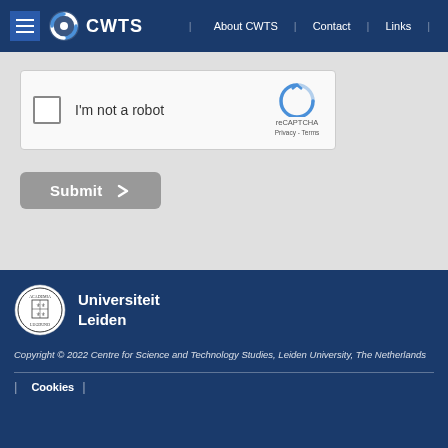CWTS | About CWTS | Contact | Links
[Figure (screenshot): reCAPTCHA widget with checkbox labeled 'I'm not a robot' and reCAPTCHA logo with 'Privacy - Terms' text]
[Figure (other): Submit button with right arrow]
[Figure (logo): Universiteit Leiden circular seal/crest logo in black and white]
Universiteit Leiden
Copyright © 2022 Centre for Science and Technology Studies, Leiden University, The Netherlands
Cookies